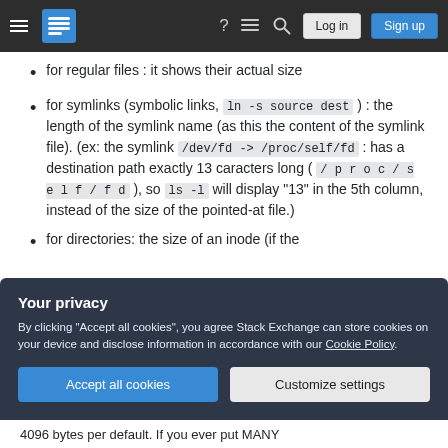Stack Exchange navigation header with Log in and Sign up buttons
for regular files : it shows their actual size
for symlinks (symbolic links, ln -s source dest ) : the length of the symlink name (as this the content of the symlink file). (ex: the symlink /dev/fd -> /proc/self/fd : has a destination path exactly 13 caracters long ( / p r o c / s e l f / f d ), so ls -l will display "13" in the 5th column, instead of the size of the pointed-at file.)
for directories: the size of an inode (if the
Your privacy
By clicking "Accept all cookies", you agree Stack Exchange can store cookies on your device and disclose information in accordance with our Cookie Policy.
4096 bytes per default. If you ever put MANY